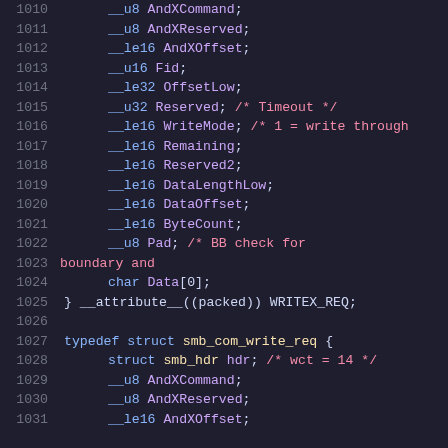[Figure (screenshot): Source code listing showing C struct definitions for SMB protocol write request structures, lines 1010-1031, with syntax highlighting in a dark theme editor]